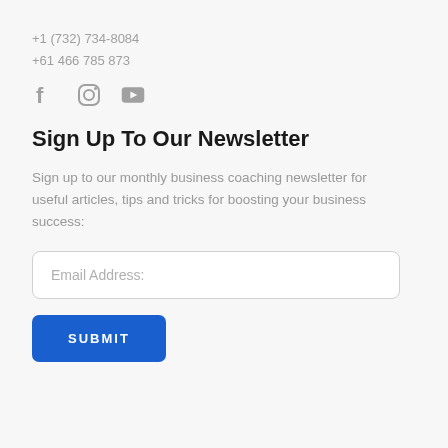+1 (732) 734-8084
+61 466 785 873
[Figure (illustration): Social media icons: Facebook, Instagram, YouTube]
Sign Up To Our Newsletter
Sign up to our monthly business coaching newsletter for useful articles, tips and tricks for boosting your business success:
Email Address:
SUBMIT